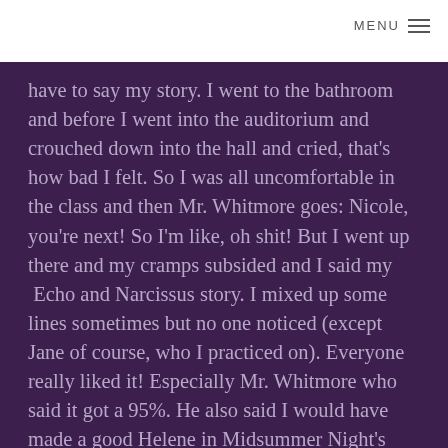MENU
have to say my story. I went to the bathroom and before I went into the auditorium and crouched down into the hall and cried, that's how bad I felt. So I was all uncomfortable in the class and then Mr. Whitmore goes: Nicole, you're next! So I'm like, oh shit! But I went up there and my cramps subsided and I said my  Echo and Narcissus story. I mixed up some lines sometimes but no one noticed (except Jane of course, who I practiced on). Everyone really liked it! Especially Mr. Whitmore who said it got a 95%. He also said I would have made a good Helene in Midsummer Night's Dream (the play he was gonna do but didn't). So I'm pissed that I didn't gt the chance to be Helena in a school play but I'm still feeling pretty good from that